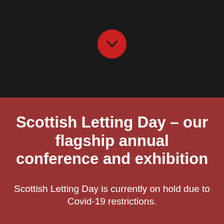[Figure (illustration): Red circle with a downward chevron/arrow icon on a dark background]
Scottish Letting Day – our flagship annual conference and exhibition
Scottish Letting Day is currently on hold due to Covid-19 restrictions.